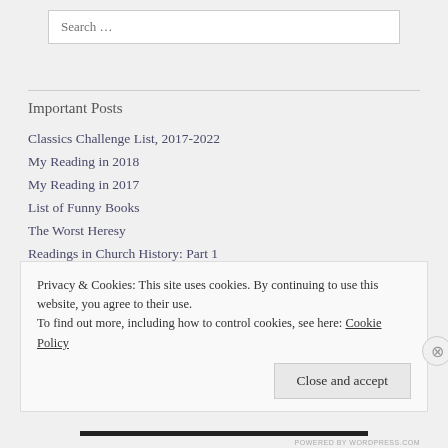Search …
Important Posts
Classics Challenge List, 2017-2022
My Reading in 2018
My Reading in 2017
List of Funny Books
The Worst Heresy
Readings in Church History: Part 1
Privacy & Cookies: This site uses cookies. By continuing to use this website, you agree to their use. To find out more, including how to control cookies, see here: Cookie Policy
Close and accept